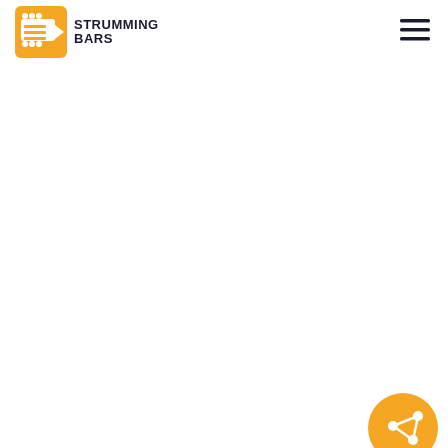[Figure (logo): Strumming Bars logo: orange square icon with guitar/audio graphic on left, bold dark text STRUMMING BARS on right]
[Figure (other): Hamburger menu icon (three horizontal lines) in top right corner]
[Figure (other): Orange circular share button with share/network icon, partially visible at bottom right corner of page]